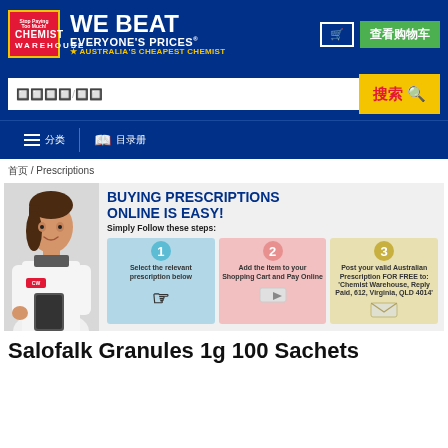[Figure (logo): Chemist Warehouse logo with 'WE BEAT EVERYONE'S PRICES' text and cart button]
[Figure (infographic): Banner showing 'BUYING PRESCRIPTIONS ONLINE IS EASY!' with 3 steps: 1) Select the relevant prescription below, 2) Add the item to your Shopping Cart and Pay Online, 3) Post your valid Australian Prescription FOR FREE to: 'Chemist Warehouse, Reply Paid, 612, Virginia, QLD 4014']
首页 / Prescriptions
Salofalk Granules 1g 100 Sachets